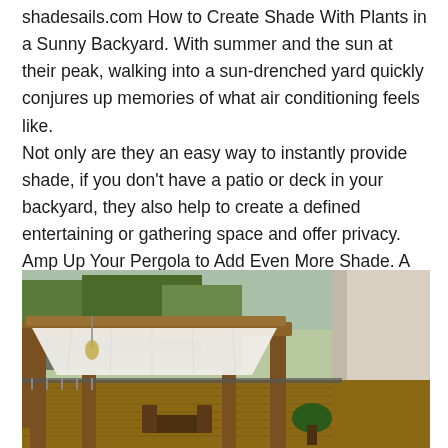shadesails.com How to Create Shade With Plants in a Sunny Backyard. With summer and the sun at their peak, walking into a sun-drenched yard quickly conjures up memories of what air conditioning feels like. Not only are they an easy way to instantly provide shade, if you don't have a patio or deck in your backyard, they also help to create a defined entertaining or gathering space and offer privacy. Amp Up Your Pergola to Add Even More Shade. A simple pergola design will do wonders for creating a shady space.
[Figure (photo): Outdoor deck with a wooden pergola structure draped with a white shade sail canopy, surrounded by trees and a house exterior. Patio furniture visible below.]